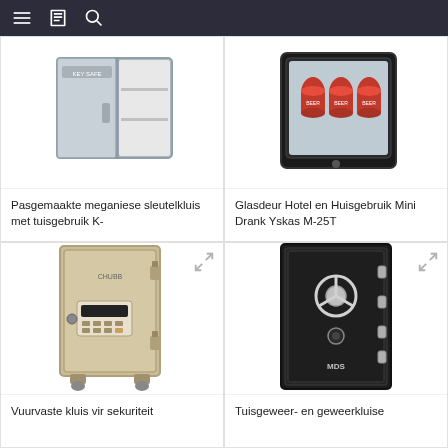Navigation bar with hamburger menu, book icon, and search icon
[Figure (photo): Pasgemaakte meganiese sleutelkluis (mechanical key safe), grey/silver, open door showing interior, top-left product card]
Pasgemaakte meganiese sleutelkluis met tuisgebruik K-
[Figure (photo): Glasdeur Hotel en Huisgebruik Mini Drank Yskas M-25T, black glass door mini refrigerator with cans visible inside, top-right product card]
Glasdeur Hotel en Huisgebruik Mini Drank Yskas M-25T
[Figure (photo): Vuurvaste kluis (fire-resistant safe), beige/tan colored upright safe with electronic keypad, bottom-left product card]
Vuurvaste kluis vir sekuriteit
[Figure (photo): Tuisgeweer- en geweerkluise (gun/rifle safe), tall black safe with open door showing chrome locking bolts and wheel handle, bottom-right product card]
Tuisgeweer- en geweerkluise